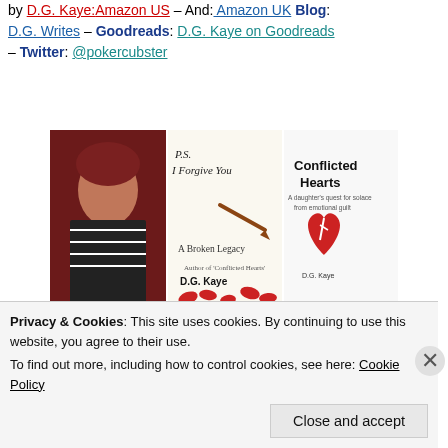by D.G. Kaye: Amazon US – And: Amazon UK Blog: D.G. Writes – Goodreads: D.G. Kaye on Goodreads – Twitter: @pokercubster
[Figure (photo): Collage of D.G. Kaye author photo and book covers: P.S. I Forgive You (A Broken Legacy), Conflicted Hearts, Words We Carry, a shopping/fashion image, and Meno-What? A Memoir]
Privacy & Cookies: This site uses cookies. By continuing to use this website, you agree to their use. To find out more, including how to control cookies, see here: Cookie Policy
Close and accept